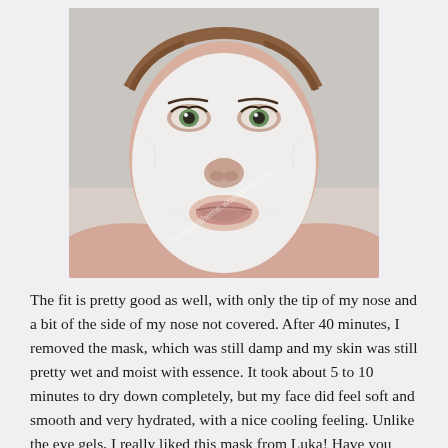[Figure (photo): Close-up photo of a person wearing a white sheet face mask, with eyes visible and tip of nose exposed. A watermark reads 'beautyintheme.wordpress.com' diagonally across the image.]
The fit is pretty good as well, with only the tip of my nose and a bit of the side of my nose not covered. After 40 minutes, I removed the mask, which was still damp and my skin was still pretty wet and moist with essence. It took about 5 to 10 minutes to dry down completely, but my face did feel soft and smooth and very hydrated, with a nice cooling feeling. Unlike the eye gels, I really liked this mask from Luka! Have you tried any of these